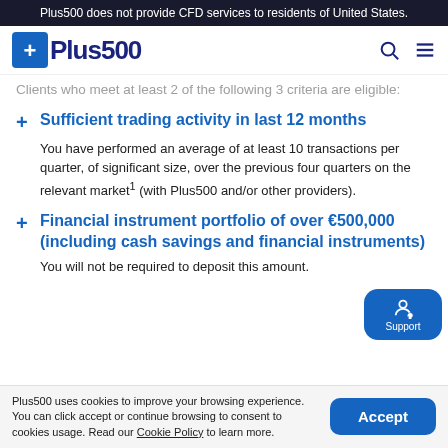Plus500 does not provide CFD services to residents of United States.
Clients who meet at least 2 of the following 3 criteria are eligible:
Sufficient trading activity in last 12 months
You have performed an average of at least 10 transactions per quarter, of significant size, over the previous four quarters on the relevant market¹ (with Plus500 and/or other providers).
Financial instrument portfolio of over €500,000 (including cash savings and financial instruments)
You will not be required to deposit this amount.
Plus500 uses cookies to improve your browsing experience. You can click accept or continue browsing to consent to cookies usage. Read our Cookie Policy to learn more.